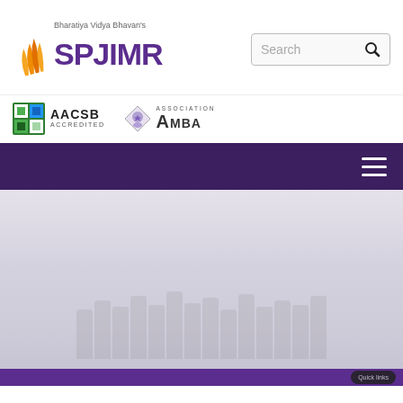[Figure (logo): SPJIMR logo with orange flame graphic and text 'Bharatiya Vidya Bhavan's SPJIMR' in purple]
[Figure (other): Search box with magnifying glass icon]
[Figure (logo): AACSB Accredited logo - green and blue square with AACSB text]
[Figure (logo): AMBA Association logo - diamond shape with AMBA text]
[Figure (other): Dark purple navigation bar with white hamburger menu icon]
[Figure (photo): Group photo of students and faculty in a classroom setting, faded/washed out appearance]